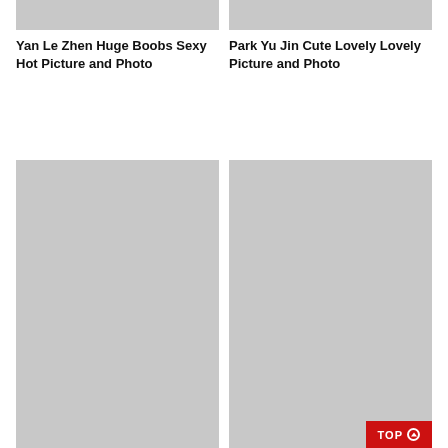[Figure (photo): Gray placeholder thumbnail image, top left]
[Figure (photo): Gray placeholder thumbnail image, top right]
Yan Le Zhen Huge Boobs Sexy Hot Picture and Photo
Park Yu Jin Cute Lovely Lovely Picture and Photo
[Figure (photo): Gray placeholder large image, bottom left]
[Figure (photo): Gray placeholder large image, bottom right]